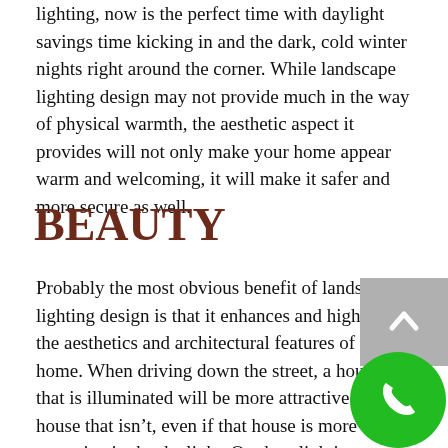lighting, now is the perfect time with daylight savings time kicking in and the dark, cold winter nights right around the corner. While landscape lighting design may not provide much in the way of physical warmth, the aesthetic aspect it provides will not only make your home appear warm and welcoming, it will make it safer and more secure as well.
BEAUTY
Probably the most obvious benefit of landscape lighting design is that it enhances and highlights the aesthetics and architectural features of your home. When driving down the street, a house that is illuminated will be more attractive than a house that isn't, even if that house is more attractive in the daylight. Outdoor lighting creates a warm and inviting ambiance for your home.
[Figure (other): Scroll-to-top button (grey square with upward chevron arrow) and green circular phone/call button overlaid in the bottom-right corner of the page]